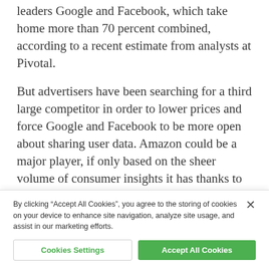leaders Google and Facebook, which take home more than 70 percent combined, according to a recent estimate from analysts at Pivotal.
But advertisers have been searching for a third large competitor in order to lower prices and force Google and Facebook to be more open about sharing user data. Amazon could be a major player, if only based on the sheer volume of consumer insights it has thanks to its robust e-commerce business.
To media direct with Amazon based on
By clicking “Accept All Cookies”, you agree to the storing of cookies on your device to enhance site navigation, analyze site usage, and assist in our marketing efforts.
Cookies Settings
Accept All Cookies